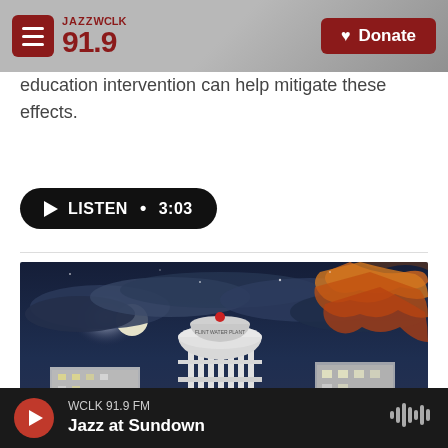JAZZ WCLK 91.9 | Donate
education intervention can help mitigate these effects.
LISTEN • 3:03
[Figure (photo): Night photo of a water tower labeled 'FLINT WATER PLANT' illuminated under a dramatic cloudy sky with a bright moon, and autumn-colored trees on the right side. Industrial buildings visible in the background.]
WCLK 91.9 FM | Jazz at Sundown